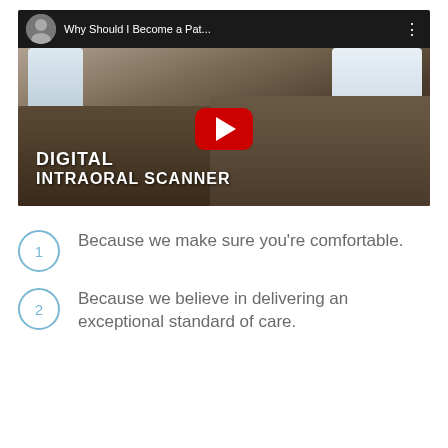[Figure (screenshot): YouTube video thumbnail showing a dental lab with a digital intraoral scanner. Title bar reads 'Why Should I Become a Pat...' with a play button overlay. Text overlay reads 'DIGITAL INTRAORAL SCANNER'.]
Because we make sure you're comfortable.
Because we believe in delivering an exceptional standard of care.